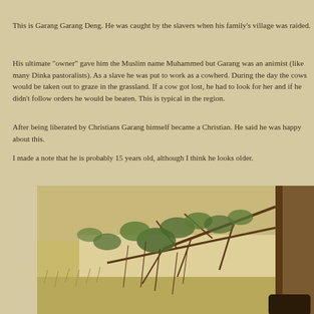This is Garang Garang Deng. He was caught by the slavers when his family's village was raided.
His ultimate "owner" gave him the Muslim name Muhammed but Garang was an animist (like many Dinka pastoralists). As a slave he was put to work as a cowherd. During the day the cows would be taken out to graze in the grassland. If a cow got lost, he had to look for her and if he didn't follow orders he would be beaten. This is typical in the region.
After being liberated by Christians Garang himself became a Christian. He said he was happy about this.
I made a note that he is probably 15 years old, although I think he looks older.
[Figure (photo): Outdoor photograph showing sparse trees with hanging branches and green leaves, dry grassland in the background, and a partially visible person at the bottom right corner.]